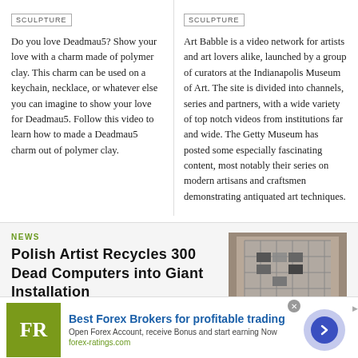SCULPTURE
Do you love Deadmau5? Show your love with a charm made of polymer clay. This charm can be used on a keychain, necklace, or whatever else you can imagine to show your love for Deadmau5. Follow this video to learn how to made a Deadmau5 charm out of polymer clay.
SCULPTURE
Art Babble is a video network for artists and art lovers alike, launched by a group of curators at the Indianapolis Museum of Art. The site is divided into channels, series and partners, with a wide variety of top notch videos from institutions far and wide. The Getty Museum has posted some especially fascinating content, most notably their series on modern artisans and craftsmen demonstrating antiquated art techniques.
NEWS
Polish Artist Recycles 300 Dead Computers into Giant Installation
[Figure (photo): Photo of a person wearing or holding a patterned/mosaic-like headpiece or mask made of computer parts]
Best Forex Brokers for profitable trading
Open Forex Account, receive Bonus and start earning Now
forex-ratings.com